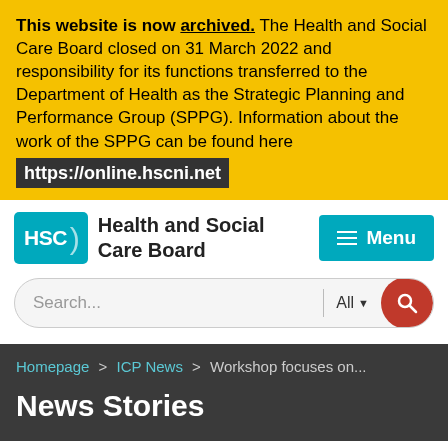This website is now archived. The Health and Social Care Board closed on 31 March 2022 and responsibility for its functions transferred to the Department of Health as the Strategic Planning and Performance Group (SPPG). Information about the work of the SPPG can be found here https://online.hscni.net
[Figure (logo): HSC Health and Social Care Board logo with teal badge and Menu button]
[Figure (screenshot): Search bar with All dropdown and red search button]
Homepage > ICP News > Workshop focuses on...
News Stories